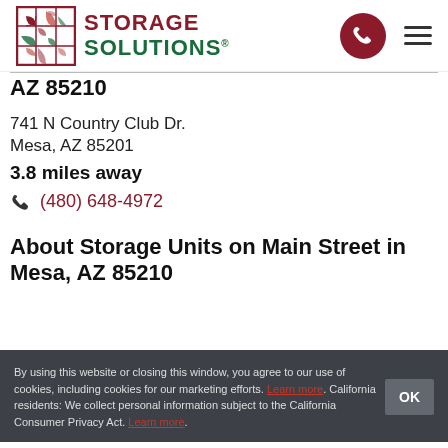[Figure (logo): Storage Solutions logo with decorative square icon and company name in red and green]
AZ 85210
741 N Country Club Dr.
Mesa, AZ 85201
3.8 miles away
(480) 648-4972
About Storage Units on Main Street in Mesa, AZ 85210
By using this website or closing this window, you agree to our use of cookies, including cookies for our marketing efforts. Learn more. California residents: We collect personal information subject to the California Consumer Privacy Act. Learn more.